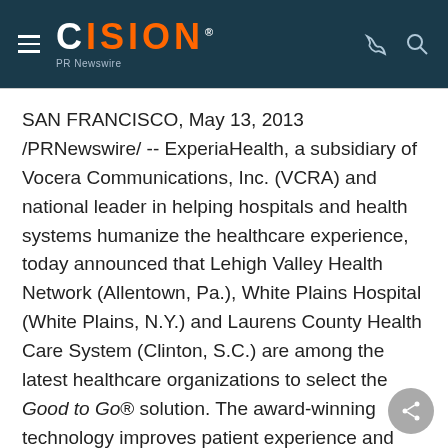CISION PR Newswire
SAN FRANCISCO, May 13, 2013 /PRNewswire/ -- ExperiaHealth, a subsidiary of Vocera Communications, Inc. (VCRA) and national leader in helping hospitals and health systems humanize the healthcare experience, today announced that Lehigh Valley Health Network (Allentown, Pa.), White Plains Hospital (White Plains, N.Y.) and Laurens County Health Care System (Clinton, S.C.) are among the latest healthcare organizations to select the Good to Go® solution. The award-winning technology improves patient experience and reduces readmissions by streamlining communication duri…